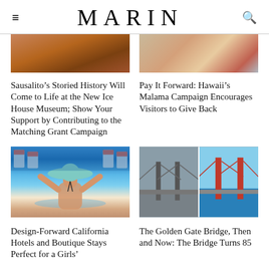MARIN
[Figure (photo): Partial view of a wooden/rustic scene, cropped at top]
[Figure (photo): Partial view of an outdoor scene with person, cropped at top]
Sausalito’s Storied History Will Come to Life at the New Ice House Museum; Show Your Support by Contributing to the Matching Grant Campaign
Pay It Forward: Hawaii’s Malama Campaign Encourages Visitors to Give Back
[Figure (photo): Woman in a wide-brim teal hat in a pool, colorful chairs in background]
[Figure (photo): Two images of the Golden Gate Bridge side by side — black and white historical and color modern]
Design-Forward California Hotels and Boutique Stays Perfect for a Girls’
The Golden Gate Bridge, Then and Now: The Bridge Turns 85